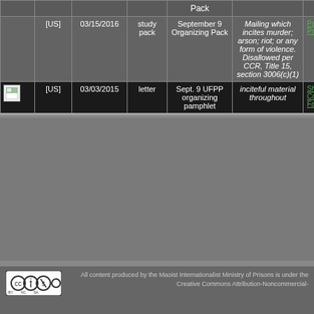| [icon] | Country | Date | Type | Title | Reason | Facility |
| --- | --- | --- | --- | --- | --- | --- |
|  | [US] | 03/15/2016 | study pack | September 9 Organizing Pack | Mailing which incites murder; arson; riot; or any form of violence. Disallowed per CCR, Title 15, section 3006(c)(1) | Pelican Bay State Prison |
| [img] | [US] | 03/03/2015 | letter | Sept. 9 UFPP organizing pamphlet | inciteful material throughout | Shawangunk Correctional Facility |
← Return to All Campaigns
CONTACT US
All content produced by the Maoist Internationalist Ministry of Prisons is under the Creative Commons Attribution-Noncommercial-